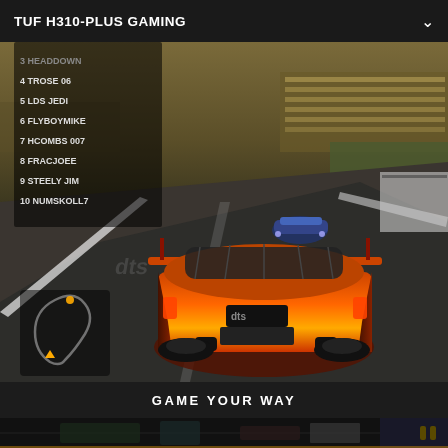TUF H310-PLUS GAMING
[Figure (screenshot): Racing video game screenshot showing an orange sports car viewed from behind on a race track. A blue car is visible ahead. A leaderboard on the left shows positions 3-10: HEADDOWN, TROSE 06, LDS JEDI, FLYBOYMIKE, HCOMBS 007, FRACJOEE, STEELY JIM, NUMSKOLL7. A track map is visible in the bottom left corner. The scene has a warm sepia-tinted atmosphere with grandstands visible in the background.]
GAME YOUR WAY
[Figure (photo): Partial view of a gaming motherboard (TUF H310-PLUS GAMING) with an ASUS TUF logo button/badge in the bottom right corner with orange chevron symbol on dark background.]